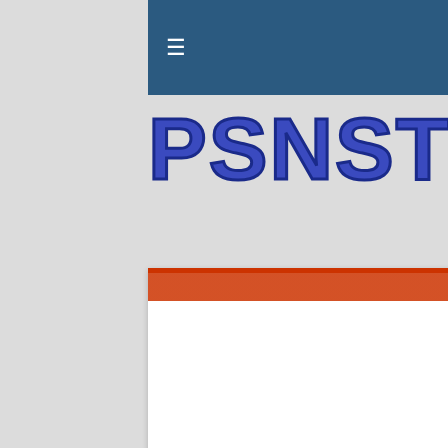≡
[Figure (logo): PSNSTORES logo in bold blue text with dark outline]
[Figure (photo): Article header image with dark red/orange tones at top, white content area below]
Sightjack the Shibito in Siren, Coming to PSN